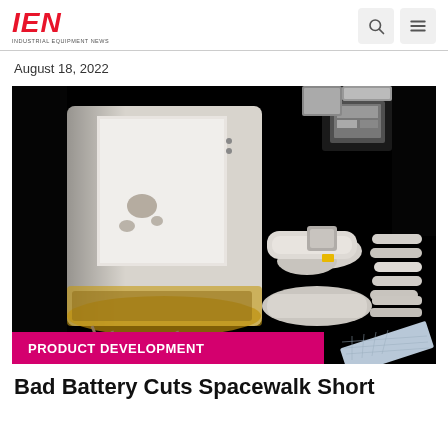IEN INDUSTRIAL EQUIPMENT NEWS
August 18, 2022
[Figure (photo): Astronaut or cosmonaut spacewalk near ISS module with equipment, robotic arm components, and solar panels visible against black space background]
PRODUCT DEVELOPMENT
Bad Battery Cuts Spacewalk Short